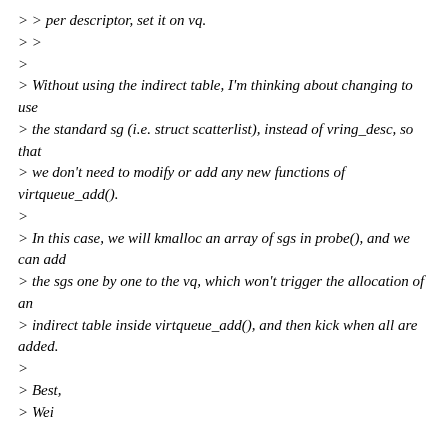> > per descriptor, set it on vq.
> >
>
> Without using the indirect table, I'm thinking about changing to use
> the standard sg (i.e. struct scatterlist), instead of vring_desc, so that
> we don't need to modify or add any new functions of virtqueue_add().
>
> In this case, we will kmalloc an array of sgs in probe(), and we can add
> the sgs one by one to the vq, which won't trigger the allocation of an
> indirect table inside virtqueue_add(), and then kick when all are added.
>
> Best,
> Wei
And allocate headers too? This can work. API extensions aren't necessarily a bad idea though. The API I suggest above is preferable
for the simple reason that it can work without INDIRECT flag support in hypervisor.